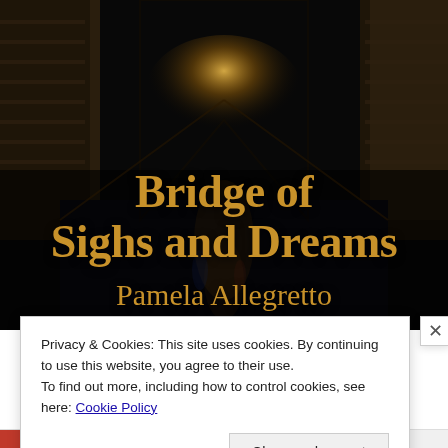[Figure (illustration): Book cover for 'Bridge of Sighs and Dreams' by Pamela Allegretto. Dark atmospheric image of a narrow Venetian canal at night with stone buildings on either side, glowing light at the far end reflected on the water. Large gold/amber serif text displays the title and author name over the dark background.]
Privacy & Cookies: This site uses cookies. By continuing to use this website, you agree to their use.
To find out more, including how to control cookies, see here: Cookie Policy